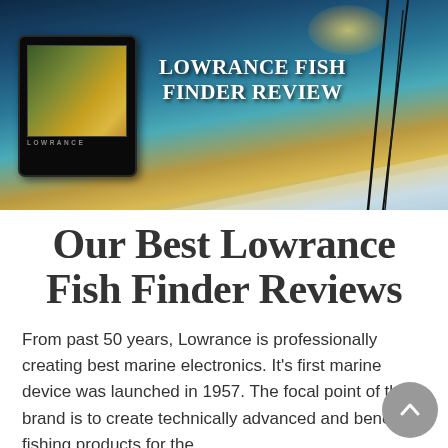[Figure (photo): Hero banner image showing a Lowrance fish finder device mounted on a boat with fishing rods in background and ocean/sunset scene. White bold text overlay reads 'LOWRANCE FISH FINDER REVIEW']
Our Best Lowrance Fish Finder Reviews
From past 50 years, Lowrance is professionally creating best marine electronics. It's first marine device was launched in 1957. The focal point of this brand is to create technically advanced and beneficial fishing products for the